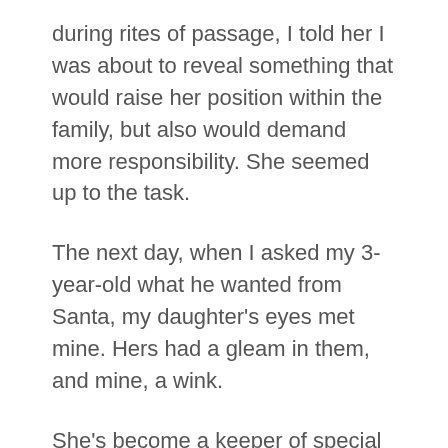during rites of passage, I told her I was about to reveal something that would raise her position within the family, but also would demand more responsibility. She seemed up to the task.
The next day, when I asked my 3-year-old what he wanted from Santa, my daughter's eyes met mine. Hers had a gleam in them, and mine, a wink.
She's become a keeper of special knowledge – which basically means that on Christmas Eve this year, she'll be able to greet the real Santa and help polish off the platter of cookies.